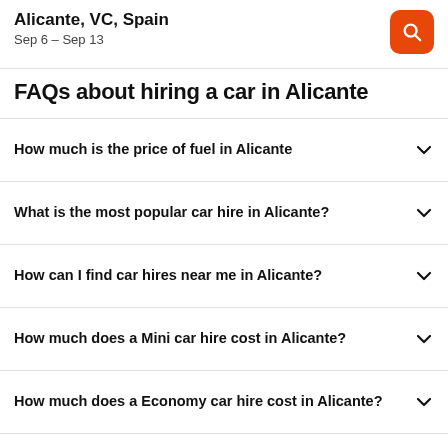Alicante, VC, Spain
Sep 6 – Sep 13
FAQs about hiring a car in Alicante
How much is the price of fuel in Alicante
What is the most popular car hire in Alicante?
How can I find car hires near me in Alicante?
How much does a Mini car hire cost in Alicante?
How much does a Economy car hire cost in Alicante?
What is the most popular car hire location in Alicante?